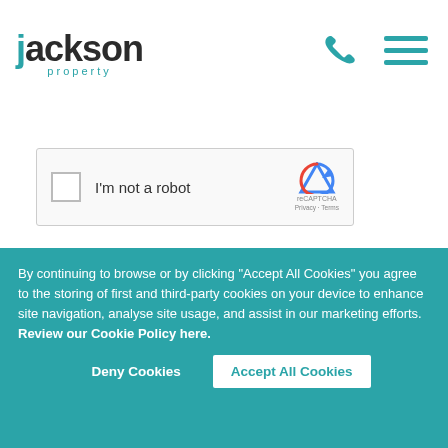Jackson property - logo and navigation
[Figure (screenshot): reCAPTCHA widget with checkbox labeled 'I'm not a robot' and reCAPTCHA logo]
Submit Request
Or call on 01432 344779   Download Brochure
By continuing to browse or by clicking "Accept All Cookies" you agree to the storing of first and third-party cookies on your device to enhance site navigation, analyse site usage, and assist in our marketing efforts.  Review our Cookie Policy here.
Deny Cookies   Accept All Cookies